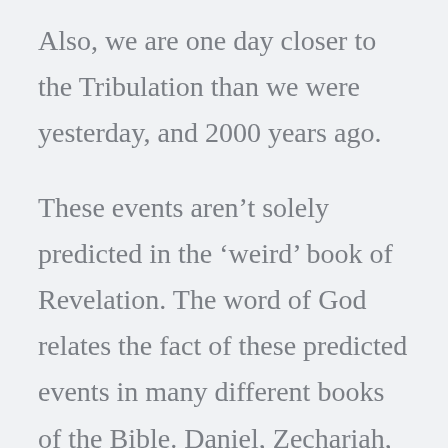Also, we are one day closer to the Tribulation than we were yesterday, and 2000 years ago.
These events aren’t solely predicted in the ‘weird’ book of Revelation. The word of God relates the fact of these predicted events in many different books of the Bible. Daniel, Zechariah, Isaiah, Matthew, 2 Peter, and more. They occur because Jesus